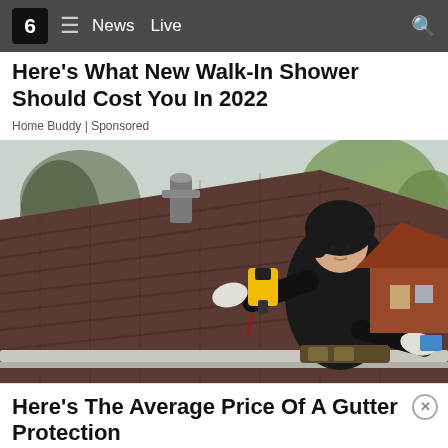6  ≡  News  Live
Here's What New Walk-In Shower Should Cost You In 2022
Home Buddy | Sponsored
[Figure (photo): A worker in a dark hoodie and work gloves using a yellow power tool on a residential roof with dark shingles; trees visible in background; suburban house seen to the right.]
Here's The Average Price Of A Gutter Protection